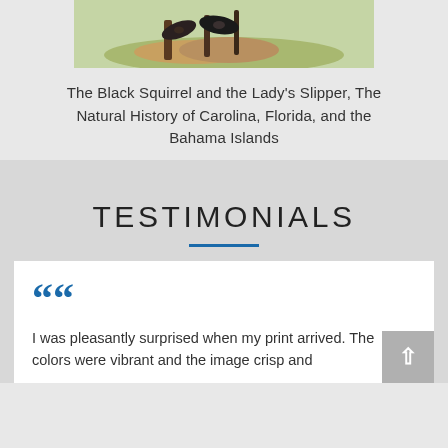[Figure (illustration): Partial view of a natural history illustration showing The Black Squirrel and the Lady's Slipper, cropped at top]
The Black Squirrel and the Lady's Slipper, The Natural History of Carolina, Florida, and the Bahama Islands
TESTIMONIALS
I was pleasantly surprised when my print arrived. The colors were vibrant and the image crisp and